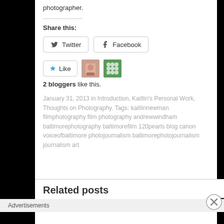photographer.
Share this:
Twitter  Facebook
Like  2 bloggers like this.
January 31, 2013 in Introduction, Kaitlin's Personal Work, Thoughts on Photography. Tags: kaitlinnewman filmphotography film photography andrewwindham baltimorephotography baltimorefilm 120pearls blog canon voiceofbaltimore photojournalism baltimorephotojournalism journalism art
Related posts
Advertisements